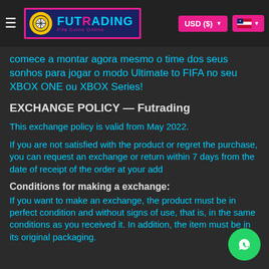Futrading — USD ($) | US flag
comece a montar agora mesmo o time dos seus sonhos para jogar o modo Ultimate to FIFA no seu XBOX ONE ou XBOX Series!
EXCHANGE POLICY — Futrading
This exchange policy is valid from May 2022.
If you are not satisfied with the product or regret the purchase, you can request an exchange or return within 7 days from the date of receipt of the order at your add
Conditions for making a exchange:
If you want to make an exchange, the product must be in perfect condition and without signs of use, that is, in the same conditions as you received it. In addition, the item must be in its original packaging.